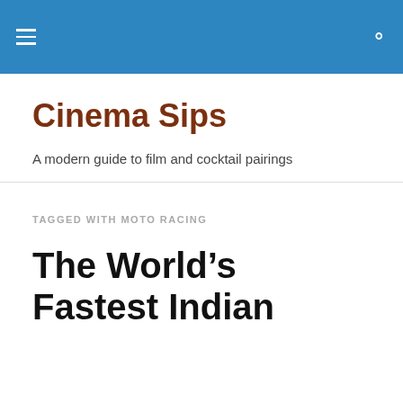Cinema Sips — navigation header with hamburger menu and search icon
Cinema Sips
A modern guide to film and cocktail pairings
TAGGED WITH MOTO RACING
The World's Fastest Indian